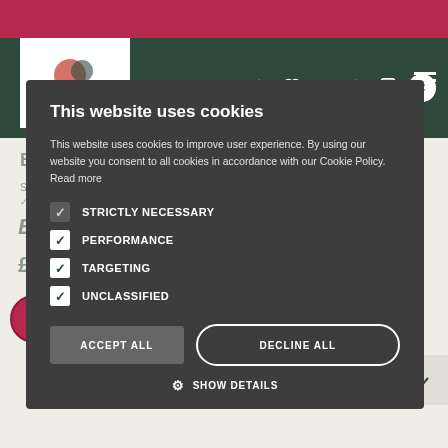Stewarts website header with navigation
Broil King Monarch 390 Gas BBQ
Stock Availability:
✓ Glenamoy  ✗ Broomhill  ✓ Abbey  ✗ Warehouse
[Figure (logo): Broil King logo in italic bold text]
£899.95
ADD TO BASKET
This website uses cookies
This website uses cookies to improve user experience. By using our website you consent to all cookies in accordance with our Cookie Policy. Read more
STRICTLY NECESSARY
PERFORMANCE
TARGETING
UNCLASSIFIED
ACCEPT ALL
DECLINE ALL
SHOW DETAILS